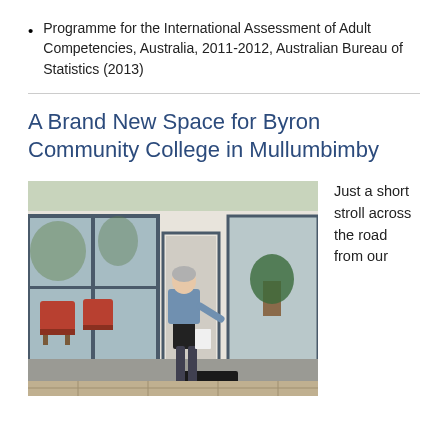Programme for the International Assessment of Adult Competencies, Australia, 2011-2012, Australian Bureau of Statistics (2013)
A Brand New Space for Byron Community College in Mullumbimby
[Figure (photo): A woman with grey hair wearing a denim jacket and black pants stands at the entrance of a modern building with large glass windows. Red armchairs and a plant are visible inside.]
Just a short stroll across the road from our